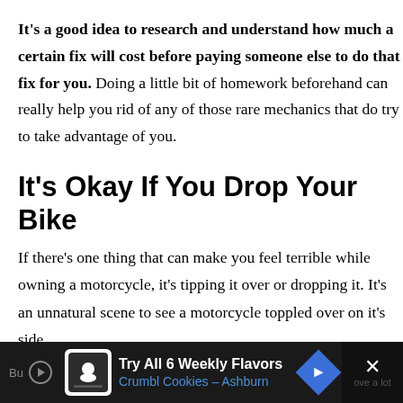It's a good idea to research and understand how much a certain fix will cost before paying someone else to do that fix for you. Doing a little bit of homework beforehand can really help you rid of any of those rare mechanics that do try to take advantage of you.
It’s Okay If You Drop Your Bike
If there’s one thing that can make you feel terrible while owning a motorcycle, it’s tipping it over or dropping it. It’s an unnatural scene to see a motorcycle toppled over on it’s side.
[Figure (screenshot): Advertisement bar at bottom: dark background with Crumbl Cookies ad showing 'Try All 6 Weekly Flavors' and 'Crumbl Cookies - Ashburn' with navigation and close icons]